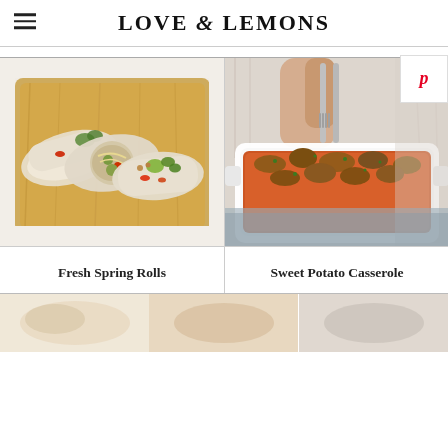LOVE & LEMONS
[Figure (photo): Overhead photo of fresh spring rolls on a wooden cutting board, showing rice paper rolls filled with noodles, avocado, red pepper, and herbs]
[Figure (photo): Woman in cream sweater scooping from a white casserole dish of sweet potato casserole topped with pecans and streusel]
Fresh Spring Rolls
Sweet Potato Casserole
[Figure (photo): Partial view of food photos in bottom row, cropped]
[Figure (photo): Partial view of food photos in bottom row, cropped]
[Figure (photo): Partial view of food photos in bottom row, cropped]